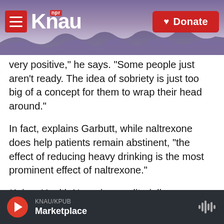KNAU NPR - Donate
very positive," he says. "Some people just aren't ready. The idea of sobriety is just too big of a concept for them to wrap their head around."
In fact, explains Garbutt, while naltrexone does help patients remain abstinent, "the effect of reducing heavy drinking is the most prominent effect of naltrexone."
Kaiser Health News is an editorially independent news service that is part of the nonpartisan Henry J. Kaiser Family Foundation. Emma Yasinski is on Twitter: @EmmaYas24
KNAU/KPUB Marketplace